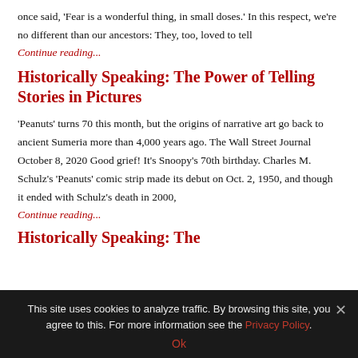once said, 'Fear is a wonderful thing, in small doses.' In this respect, we're no different than our ancestors: They, too, loved to tell
Continue reading...
Historically Speaking: The Power of Telling Stories in Pictures
'Peanuts' turns 70 this month, but the origins of narrative art go back to ancient Sumeria more than 4,000 years ago. The Wall Street Journal October 8, 2020 Good grief! It's Snoopy's 70th birthday. Charles M. Schulz's 'Peanuts' comic strip made its debut on Oct. 2, 1950, and though it ended with Schulz's death in 2000,
Continue reading...
Historically Speaking: The
This site uses cookies to analyze traffic. By browsing this site, you agree to this. For more information see the Privacy Policy.
Ok